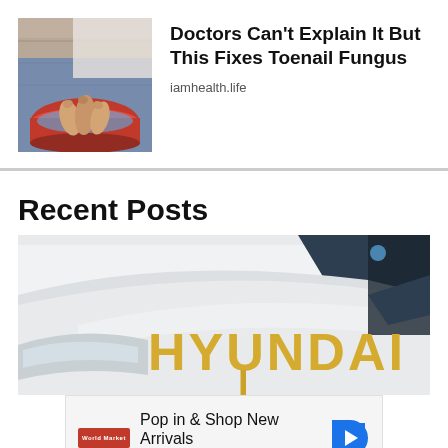[Figure (photo): Person soaking feet in a red basin/bucket, health advertisement image]
Doctors Can't Explain It But This Fixes Toenail Fungus
iamhealth.life
Recent Posts
[Figure (photo): Close-up of a white Hyundai car hood/bonnet with HYUNDAI logo visible in gold lettering]
[Figure (infographic): Advertisement: Pop in & Shop New Arrivals World Market, with navigation arrow icon]
Pop in & Shop New Arrivals
World Market